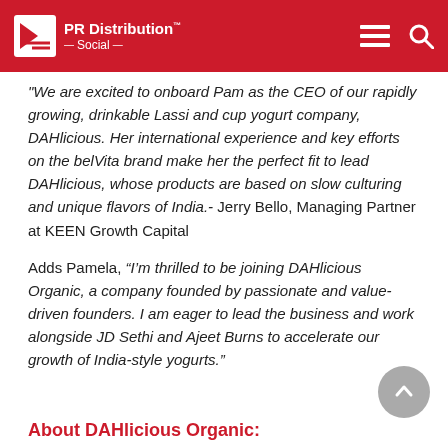PR Distribution Social
"We are excited to onboard Pam as the CEO of our rapidly growing, drinkable Lassi and cup yogurt company, DAHlicious.  Her international experience and key efforts on the belVita brand make her the perfect fit to lead DAHlicious, whose products are based on slow culturing and unique flavors of India.- Jerry Bello, Managing Partner at KEEN Growth Capital
Adds Pamela, “I’m thrilled to be joining DAHlicious Organic, a company founded by passionate and value-driven founders.  I am eager to lead the business and work alongside JD Sethi and Ajeet Burns to accelerate our growth of India-style yogurts.”
About DAHlicious Organic: